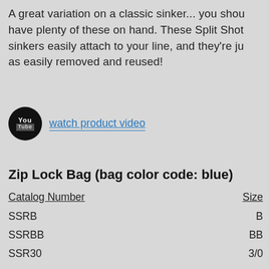A great variation on a classic sinker... you should have plenty of these on hand. These Split Shot sinkers easily attach to your line, and they're just as easily removed and reused!
[Figure (logo): YouTube logo button (dark circle with You Tube text) with 'watch product video' link text beside it]
Zip Lock Bag (bag color code: blue)
| Catalog Number | Size |
| --- | --- |
| SSRB | B |
| SSRBB | BB |
| SSR30 | 3/0 |